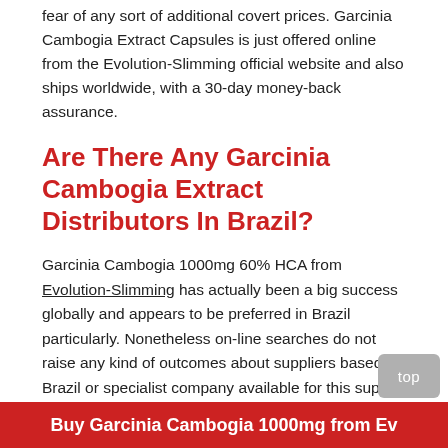fear of any sort of additional covert prices. Garcinia Cambogia Extract Capsules is just offered online from the Evolution-Slimming official website and also ships worldwide, with a 30-day money-back assurance.
Are There Any Garcinia Cambogia Extract Distributors In Brazil?
Garcinia Cambogia 1000mg 60% HCA from Evolution-Slimming has actually been a big success globally and appears to be preferred in Brazil particularly. Nonetheless on-line searches do not raise any kind of outcomes about suppliers based in Brazil or specialist company available for this supply. Definitely, any search engine results page that do appear are typically dead web links or link back to the exact same web page under different names.
Buy Garcinia Cambogia 1000mg from Ev...